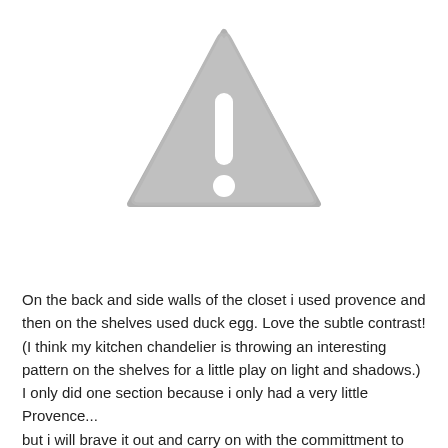[Figure (illustration): A gray warning/caution triangle icon with a white exclamation mark inside, rounded corners on the triangle.]
On the back and side walls of the closet i used provence and then on the shelves used duck egg. Love the subtle contrast! (I think my kitchen chandelier is throwing an interesting pattern on the shelves for a little play on light and shadows.) I only did one section because i only had a very little Provence... but i will brave it out and carry on with the committment to do...